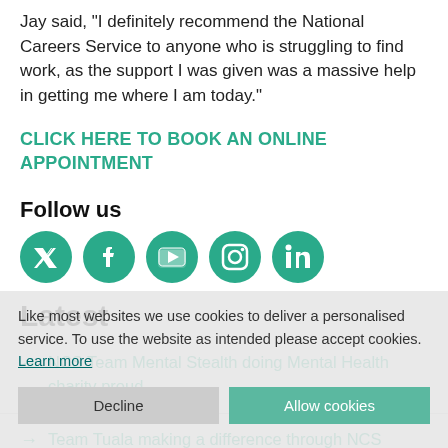Jay said, 'I definitely recommend the National Careers Service to anyone who is struggling to find work, as the support I was given was a massive help in getting me where I am today.'
CLICK HERE TO BOOK AN ONLINE APPOINTMENT
Follow us
[Figure (other): Social media icons: Twitter, Facebook, YouTube, Instagram, LinkedIn — green circles with white logos]
Latest
Like most websites we use cookies to deliver a personalised service. To use the website as intended please accept cookies. Learn more
NCS Team Mental Stealth doing Mental Health charity proud
Team Tuala making a difference through NCS